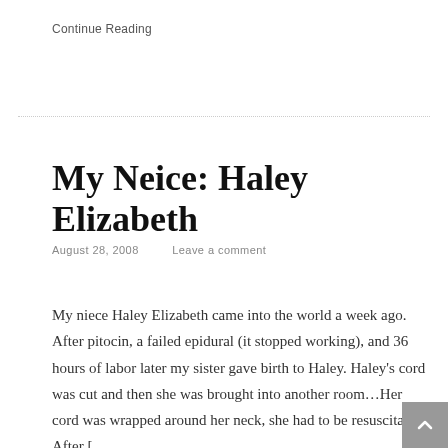Continue Reading
My Neice: Haley Elizabeth
August 28, 2008   Leave a comment
My niece Haley Elizabeth came into the world a week ago. After pitocin, a failed epidural (it stopped working), and 36 hours of labor later my sister gave birth to Haley. Haley's cord was cut and then she was brought into another room…Her cord was wrapped around her neck, she had to be resuscitated. After [